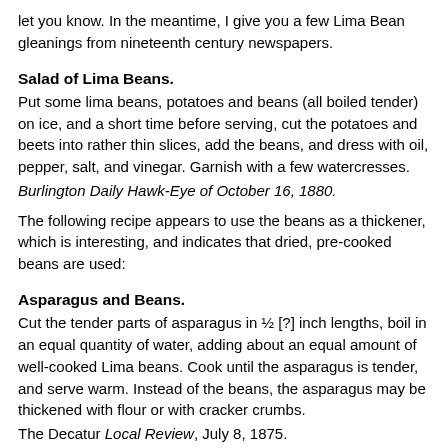let you know. In the meantime, I give you a few Lima Bean gleanings from nineteenth century newspapers.
Salad of Lima Beans.
Put some lima beans, potatoes and beans (all boiled tender) on ice, and a short time before serving, cut the potatoes and beets into rather thin slices, add the beans, and dress with oil, pepper, salt, and vinegar. Garnish with a few watercresses.
Burlington Daily Hawk-Eye of October 16, 1880.
The following recipe appears to use the beans as a thickener, which is interesting, and indicates that dried, pre-cooked beans are used:
Asparagus and Beans.
Cut the tender parts of asparagus in ½ [?] inch lengths, boil in an equal quantity of water, adding about an equal amount of well-cooked Lima beans. Cook until the asparagus is tender, and serve warm. Instead of the beans, the asparagus may be thickened with flour or with cracker crumbs.
The Decatur Local Review, July 8, 1875.